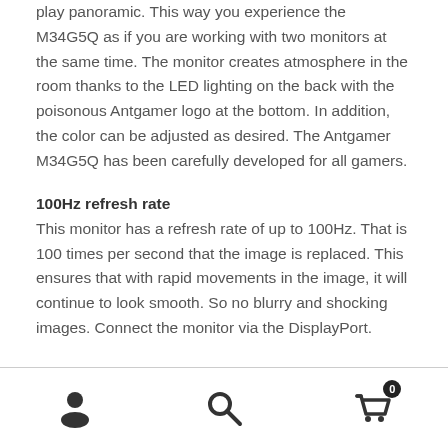play panoramic. This way you experience the M34G5Q as if you are working with two monitors at the same time. The monitor creates atmosphere in the room thanks to the LED lighting on the back with the poisonous Antgamer logo at the bottom. In addition, the color can be adjusted as desired. The Antgamer M34G5Q has been carefully developed for all gamers.
100Hz refresh rate
This monitor has a refresh rate of up to 100Hz. That is 100 times per second that the image is replaced. This ensures that with rapid movements in the image, it will continue to look smooth. So no blurry and shocking images. Connect the monitor via the DisplayPort.
User icon | Search icon | Cart icon with badge 0